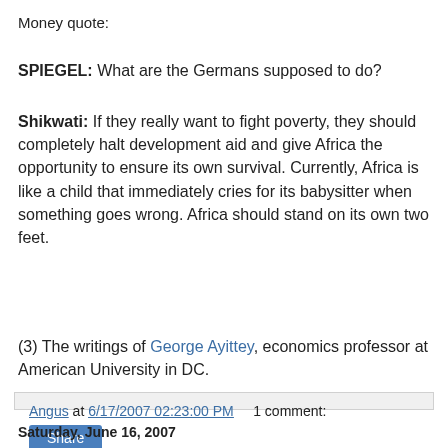Money quote:
SPIEGEL: What are the Germans supposed to do?
Shikwati: If they really want to fight poverty, they should completely halt development aid and give Africa the opportunity to ensure its own survival. Currently, Africa is like a child that immediately cries for its babysitter when something goes wrong. Africa should stand on its own two feet.
(3) The writings of George Ayittey, economics professor at American University in DC.
Angus at 6/17/2007 02:23:00 PM    1 comment:
Share
Saturday, June 16, 2007